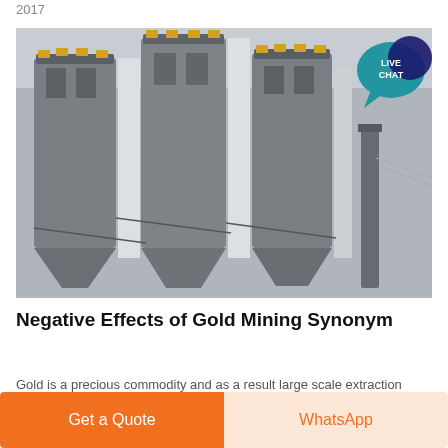2017
[Figure (photo): Industrial silos or grain storage towers at a mining or processing facility, photographed in overcast daylight. Multiple large cylindrical concrete silos with metal framework visible. A LIVE CHAT badge appears in the top-right corner of the image.]
Negative Effects of Gold Mining Synonym
Gold is a precious commodity and as a result large scale extraction